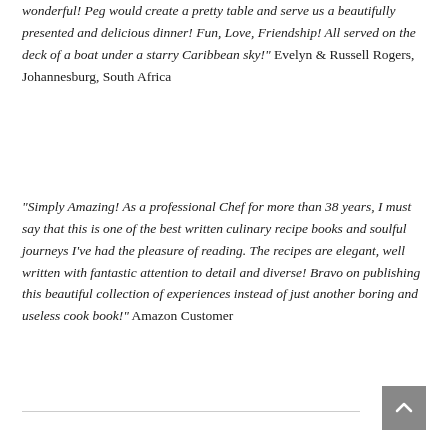“wonderful!  Peg would create a pretty table and serve us a beautifully presented and delicious dinner!  Fun, Love, Friendship!  All served on the deck of a boat under a starry Caribbean sky!”  Evelyn & Russell Rogers, Johannesburg, South Africa
“Simply Amazing!  As a professional Chef for more than 38 years, I must say that this is one of the best written culinary recipe books and soulful journeys I’ve had the pleasure of reading.  The recipes are elegant, well written with fantastic attention to detail and diverse!  Bravo on publishing this beautiful collection of experiences instead of just another boring and useless cook book!”  Amazon Customer